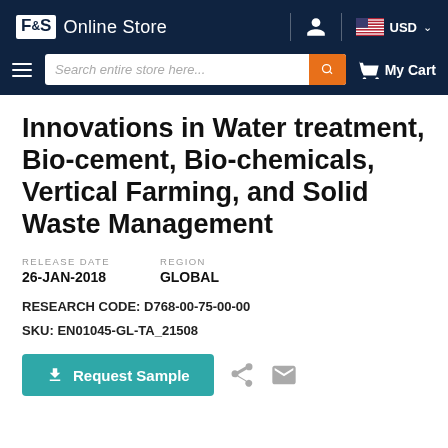F&S Online Store  USD
Innovations in Water treatment, Bio-cement, Bio-chemicals, Vertical Farming, and Solid Waste Management
RELEASE DATE
26-JAN-2018
REGION
GLOBAL
RESEARCH CODE: D768-00-75-00-00
SKU: EN01045-GL-TA_21508